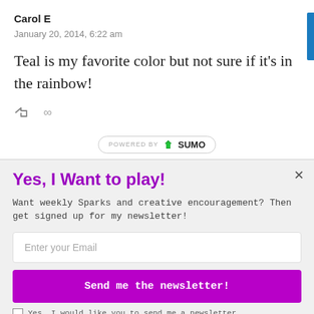Carol E
January 20, 2014, 6:22 am
Teal is my favorite color but not sure if it's in the rainbow!
[Figure (other): Comment action icons: reply arrow and infinity symbol]
[Figure (logo): Powered by SUMO badge]
Yes, I Want to play!
Want weekly Sparks and creative encouragement? Then get signed up for my newsletter!
Enter your Email
Send me the newsletter!
Yes, I would like you to send me a newsletter.